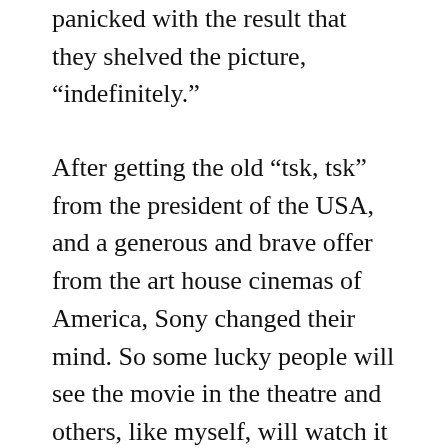panicked with the result that they shelved the picture, “indefinitely.”
After getting the old “tsk, tsk” from the president of the USA, and a generous and brave offer from the art house cinemas of America, Sony changed their mind. So some lucky people will see the movie in the theatre and others, like myself, will watch it via the Internet (in this case from Google Play).
Perhaps the only complaint is that the music feels a little close, in some instances, to the soundtrack used by Kim